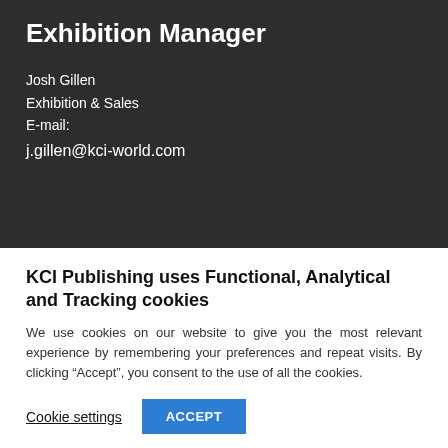Exhibition Manager
Josh Gillen
Exhibition & Sales
E-mail:
j.gillen@kci-world.com
KCI Publishing uses Functional, Analytical and Tracking cookies
We use cookies on our website to give you the most relevant experience by remembering your preferences and repeat visits. By clicking “Accept”, you consent to the use of all the cookies.
Cookie settings   ACCEPT